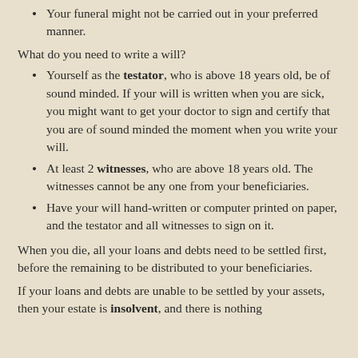Your funeral might not be carried out in your preferred manner.
What do you need to write a will?
Yourself as the testator, who is above 18 years old, be of sound minded. If your will is written when you are sick, you might want to get your doctor to sign and certify that you are of sound minded the moment when you write your will.
At least 2 witnesses, who are above 18 years old. The witnesses cannot be any one from your beneficiaries.
Have your will hand-written or computer printed on paper, and the testator and all witnesses to sign on it.
When you die, all your loans and debts need to be settled first, before the remaining to be distributed to your beneficiaries.
If your loans and debts are unable to be settled by your assets, then your estate is insolvent, and there is nothing